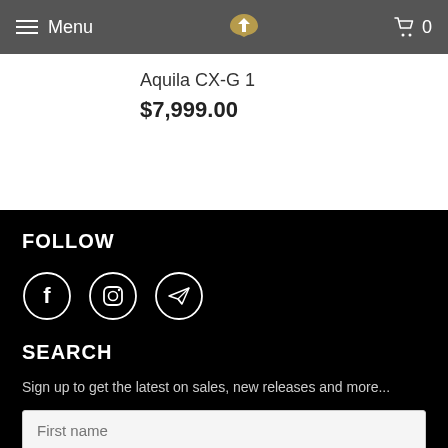Menu | [logo] | 0
Aquila CX-G 1
$7,999.00
FOLLOW
[Figure (illustration): Social media icons: Facebook (f), Instagram (camera), Telegram (paper plane) — each inside a white circle outline]
SEARCH
Sign up to get the latest on sales, new releases and more...
First name